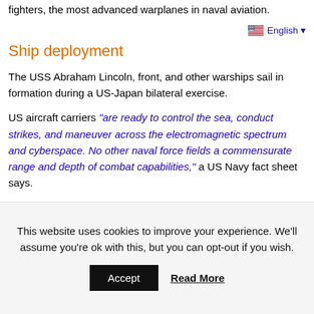fighters, the most advanced warplanes in naval aviation.
English ▾
Ship deployment
The USS Abraham Lincoln, front, and other warships sail in formation during a US-Japan bilateral exercise.
US aircraft carriers "are ready to control the sea, conduct strikes, and maneuver across the electromagnetic spectrum and cyberspace. No other naval force fields a commensurate range and depth of combat capabilities," a US Navy fact sheet says.
"In times of crisis, the first question leaders ask is: 'Where are
This website uses cookies to improve your experience. We'll assume you're ok with this, but you can opt-out if you wish.